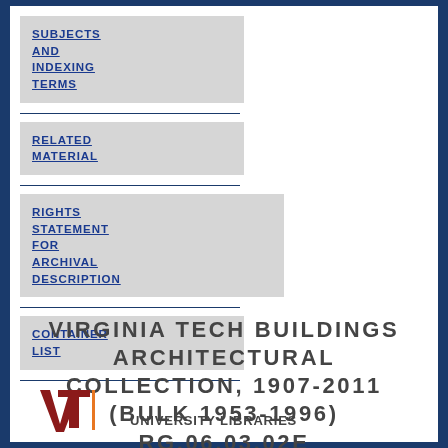SUBJECTS AND INDEXING TERMS
RELATED MATERIAL
RIGHTS STATEMENT FOR ARCHIVAL DESCRIPTION
CONTAINER LIST
Virginia Tech Buildings Architectural Collection, 1907-2011 (Bulk 1953-1996) RG.06.03.02E
[Figure (logo): Virginia Tech University Libraries logo with VT monogram in maroon and orange, followed by text 'UNIVERSITY LIBRARIES']